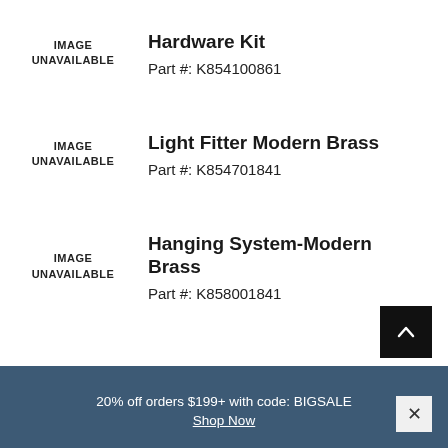[Figure (other): IMAGE UNAVAILABLE placeholder for Hardware Kit]
Hardware Kit
Part #: K854100861
[Figure (other): IMAGE UNAVAILABLE placeholder for Light Fitter Modern Brass]
Light Fitter Modern Brass
Part #: K854701841
[Figure (other): IMAGE UNAVAILABLE placeholder for Hanging System-Modern Brass]
Hanging System-Modern Brass
Part #: K858001841
20% off orders $199+ with code: BIGSALE Shop Now